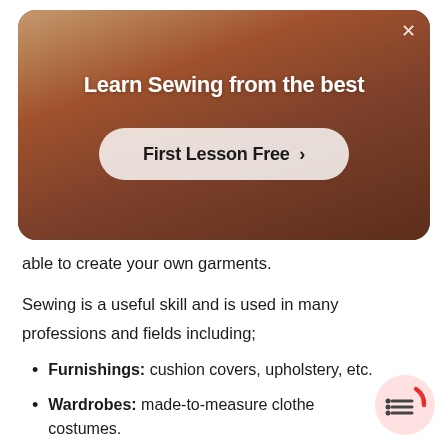[Figure (screenshot): Advertisement banner with dark warm-toned background showing a person sewing. Title reads 'Learn Sewing from the best' with a button 'First Lesson Free >' and a close X button in top right corner.]
able to create your own garments.
Sewing is a useful skill and is used in many professions and fields including;
Furnishings: cushion covers, upholstery, etc.
Wardrobes: made-to-measure clothe costumes.
[Figure (illustration): Floating UI icon with red arc and list lines symbol in bottom right corner]